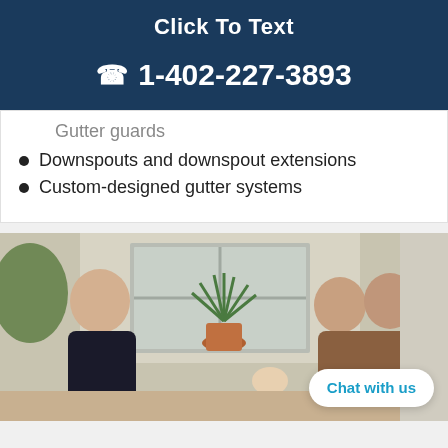Click To Text
1-402-227-3893
Gutter guards
Downspouts and downspout extensions
Custom-designed gutter systems
[Figure (photo): A contractor sitting with a couple and their baby outside a house, discussing home services. A potted palm plant is visible in the background.]
Chat with us